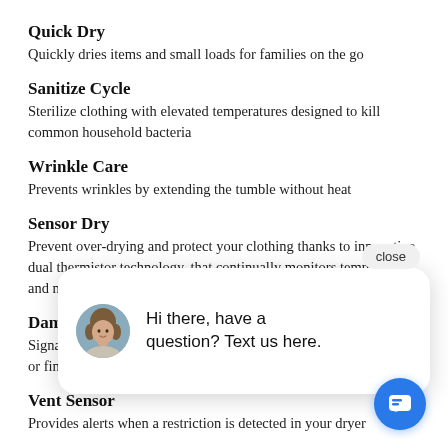Quick Dry
Quickly dries items and small loads for families on the go
Sanitize Cycle
Sterilize clothing with elevated temperatures designed to kill common household bacteria
Wrinkle Care
Prevents wrinkles by extending the tumble without heat
Sensor Dry
Prevent over-drying and protect your clothing thanks to innovative dual thermistor technology, that continually monitors temperature and moisture
Damp Alert
Signals when damp clothes are ready for ironing or final
Vent Sensor
Provides alerts when a restriction is detected in your dryer
4 Way Venting
Easy-to-change venting options provide the ultimate installation flexibility to fit in your home
[Figure (screenshot): Chat popup overlay with close button, avatar of a woman, text 'Hi there, have a question? Text us here.' and a blue chat button at bottom right.]